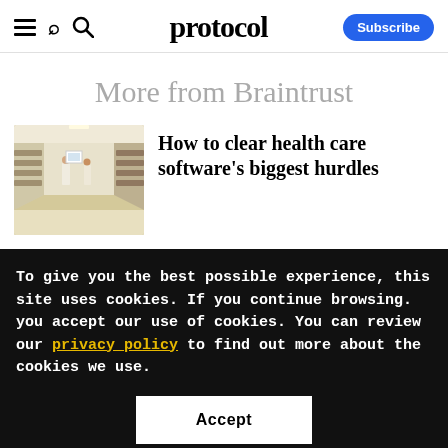protocol
More from Braintrust
[Figure (photo): Interior of a hospital or laboratory hallway with workers in white coats]
How to clear health care software's biggest hurdles
To give you the best possible experience, this site uses cookies. If you continue browsing. you accept our use of cookies. You can review our privacy policy to find out more about the cookies we use.
Accept